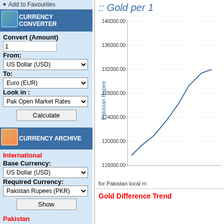✦ Add to Favourites
CURRENCY CONVERTER
Convert (Amount)
1
From:
US Dollar (USD)
To:
Euro (EUR)
Look in :
Pak Open Market Rates
Calculate
CURRENCY ARCHIVE
International
Base Currency:
US Dollar (USD)
Required Currency:
Pakistan Rupees (PKR)
Show
Pakistan
Required Currency:
US Dollar (USD)
Look in :
Open Market Rates
Show
:: Gold per 1
[Figure (line-chart): Line chart showing gold price in Pakistan Rupee, y-axis ranging from 116000.00 to 140000.00]
for Pakistan local m
Gold Difference Trend